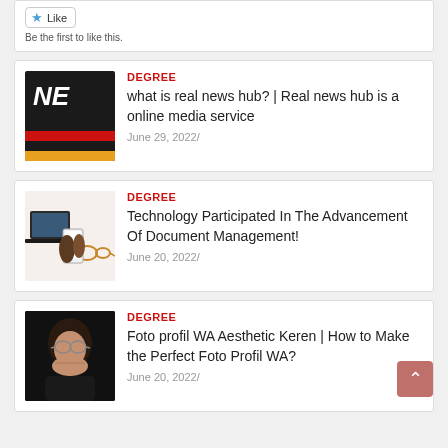Like
Be the first to like this.
[Figure (screenshot): Article thumbnail: dark background with 'NE' text and red/yellow/black horizontal stripes at bottom]
DEGREE
what is real news hub? | Real news hub is a online media service
June 29, 2022/
[Figure (photo): Person holding smartphone with blank screen, laptop and glasses in background]
DEGREE
Technology Participated In The Advancement Of Document Management!
June 20, 2022/
[Figure (photo): Close-up portrait of person with glasses covering mouth with hands against dark background]
DEGREE
Foto profil WA Aesthetic Keren | How to Make the Perfect Foto Profil WA?
June 20, 2022/